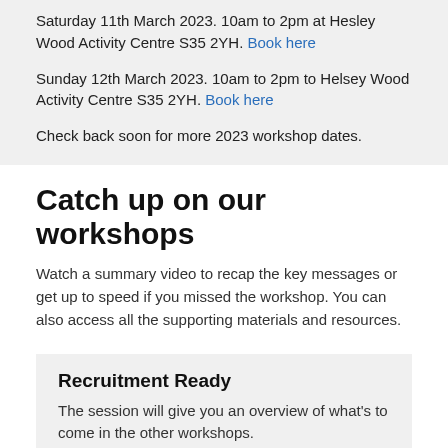Saturday 11th March 2023. 10am to 2pm at Hesley Wood Activity Centre S35 2YH. Book here
Sunday 12th March 2023. 10am to 2pm to Helsey Wood Activity Centre S35 2YH. Book here
Check back soon for more 2023 workshop dates.
Catch up on our workshops
Watch a summary video to recap the key messages or get up to speed if you missed the workshop. You can also access all the supporting materials and resources.
Recruitment Ready
The session will give you an overview of what's to come in the other workshops.